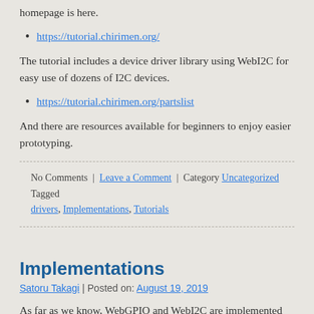homepage is here.
https://tutorial.chirimen.org/
The tutorial includes a device driver library using WebI2C for easy use of dozens of I2C devices.
https://tutorial.chirimen.org/partslist
And there are resources available for beginners to enjoy easier prototyping.
No Comments | Leave a Comment | Category Uncategorized Tagged drivers, Implementations, Tutorials
Implementations
Satoru Takagi | Posted on: August 19, 2019
As far as we know, WebGPIO and WebI2C are implemented by CHIRIMEN Open Hardware Community.